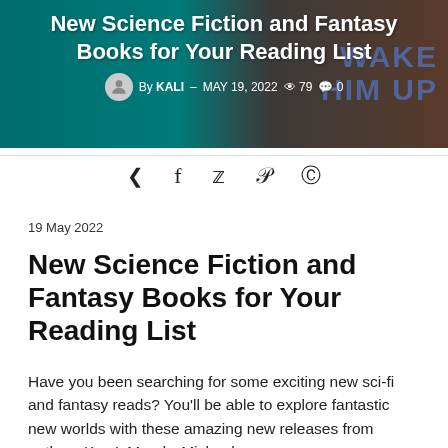[Figure (photo): Header banner with teal/dark background showing book covers partially visible on the right side, with overlaid text 'New Science Fiction and Fantasy Books for Your Reading List' and author/date metadata]
New Science Fiction and Fantasy Books for Your Reading List
By KALI  ·  MAY 19, 2022  · 👁 79  · 💬 0
< f 𝕩 𝕡 ©
19 May 2022
New Science Fiction and Fantasy Books for Your Reading List
Have you been searching for some exciting new sci-fi and fantasy reads? You'll be able to explore fantastic new worlds with these amazing new releases from authors Kay L Moody, Michael...